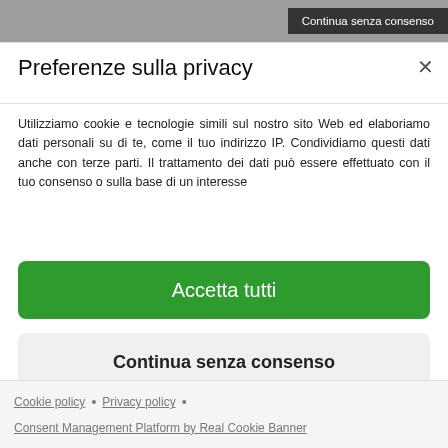[Figure (screenshot): Gray background area at top of page]
Continua senza consenso
Preferenze sulla privacy
Utilizziamo cookie e tecnologie simili sul nostro sito Web ed elaboriamo dati personali su di te, come il tuo indirizzo IP. Condividiamo questi dati anche con terze parti. Il trattamento dei dati può essere effettuato con il tuo consenso o sulla base di un interesse
Accetta tutti
Continua senza consenso
Preferenze sulla privacy individuali
Cookie policy • Privacy policy • Consent Management Platform by Real Cookie Banner